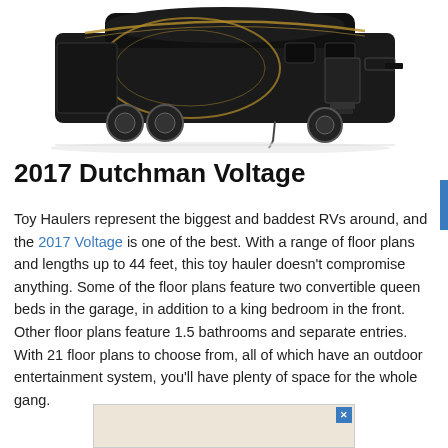[Figure (photo): A dark brown/black luxury fifth-wheel toy hauler RV (2017 Dutchman Voltage) shown from the side, with gold accent stripes, on a white background.]
2017 Dutchman Voltage
Toy Haulers represent the biggest and baddest RVs around, and the 2017 Voltage is one of the best. With a range of floor plans and lengths up to 44 feet, this toy hauler doesn't compromise anything. Some of the floor plans feature two convertible queen beds in the garage, in addition to a king bedroom in the front. Other floor plans feature 1.5 bathrooms and separate entries. With 21 floor plans to choose from, all of which have an outdoor entertainment system, you'll have plenty of space for the whole gang.
[Figure (other): Advertisement banner at the bottom of the page with an X close button.]